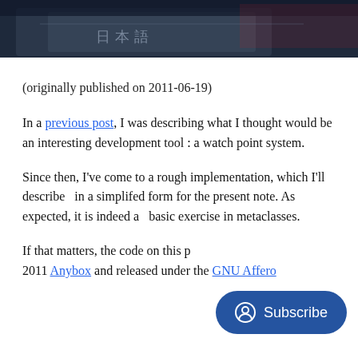[Figure (photo): Top portion of a photo showing what appears to be a book or box with Japanese/Asian characters on it, cropped at the top of the page]
(originally published on 2011-06-19)
In a previous post, I was describing what I thought would be an interesting development tool : a watch point system.
Since then, I've come to a rough implementation, which I'll describe  in a simplifed form for the present note. As expected, it is indeed a  basic exercise in metaclasses.
If that matters, the code on this p… 2011 Anybox and released under the GNU Affero